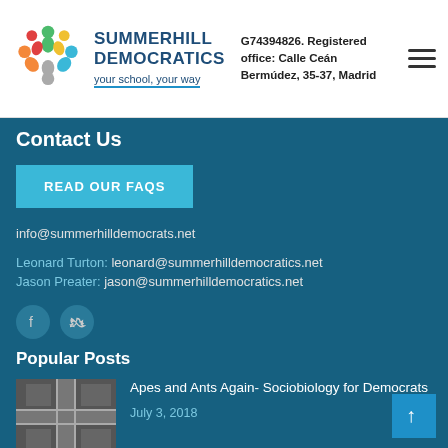SUMMERHILL DEMOCRATICS — your school, your way | G74394826. Registered office: Calle Ceán Bermúdez, 35-37, Madrid
Contact Us
READ OUR FAQS
info@summerhilldemocrats.net
Leonard Turton: leonard@summerhilldemocratics.net
Jason Preater: jason@summerhilldemocratics.net
[Figure (illustration): Facebook and Twitter social media icons]
Popular Posts
[Figure (photo): Aerial photo of a city intersection]
Apes and Ants Again- Sociobiology for Democrats
July 3, 2018